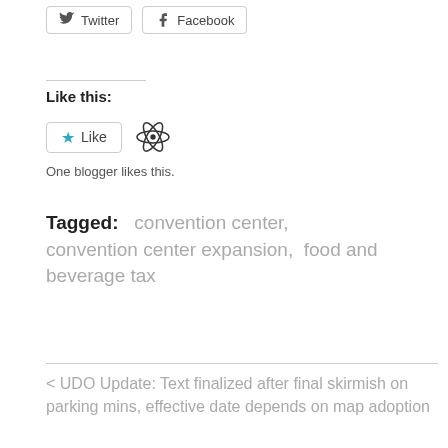[Figure (screenshot): Twitter and Facebook share buttons]
Like this:
[Figure (screenshot): Like button widget with star icon and atom/WordPress icon. One blogger likes this.]
One blogger likes this.
Tagged:   convention center,  convention center expansion,  food and beverage tax
< UDO Update: Text finalized after final skirmish on parking mins, effective date depends on map adoption